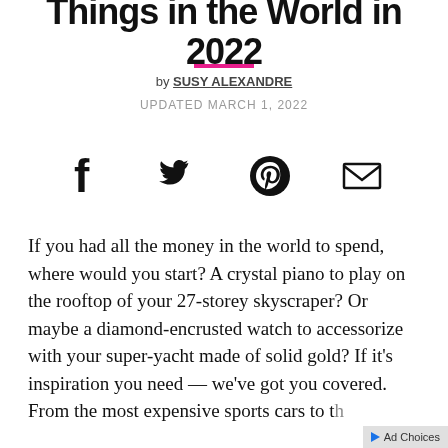Things in the World in 2022
by SUSY ALEXANDRE
UPDATED MARCH 1, 2022
[Figure (infographic): Social sharing icons: Facebook, Twitter, Pinterest, Email]
If you had all the money in the world to spend, where would you start? A crystal piano to play on the rooftop of your 27-storey skyscraper? Or maybe a diamond-encrusted watch to accessorize with your super-yacht made of solid gold? If it's inspiration you need — we've got you covered. From the most expensive sports cars to th…